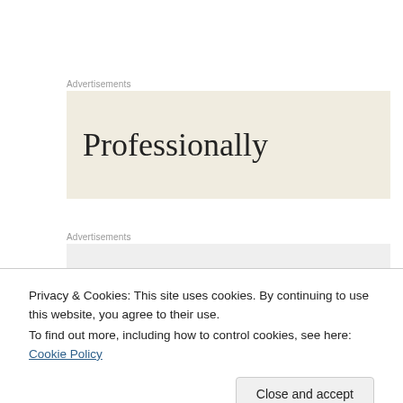Advertisements
[Figure (other): Advertisement banner with beige background showing the word 'Professionally' in large serif font]
Advertisements
[Figure (other): Second advertisement banner with light grey background and a short dark horizontal line]
Privacy & Cookies: This site uses cookies. By continuing to use this website, you agree to their use.
To find out more, including how to control cookies, see here: Cookie Policy
Close and accept